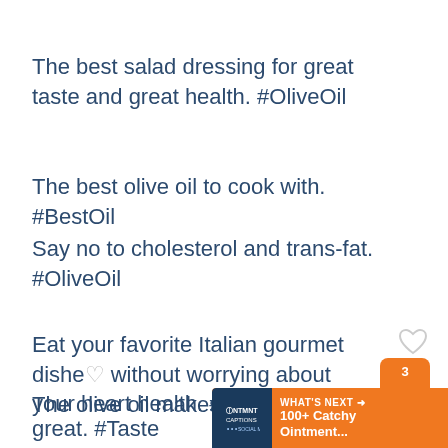The best salad dressing for great taste and great health. #OliveOil
The best olive oil to cook with. #BestOil
Say no to cholesterol and trans-fat. #OliveOil
Eat your favorite Italian gourmet dishes without worrying about your heart health. #HealthyOil
The olive oil makes every dish taste great. #Taste
[Figure (infographic): Orange share button with count 3 and What's Next banner with 100+ Catchy Ointment caption promo]